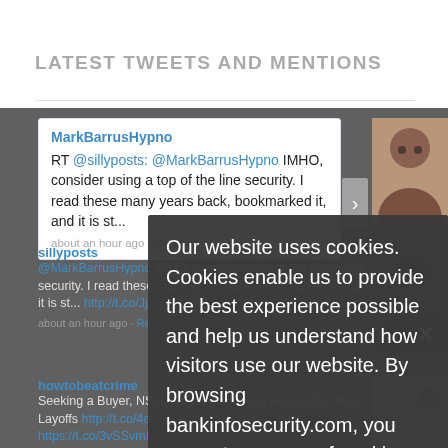LATEST TWEETS AND MENTIONS
MarkBarrusHypno
RT @sillyposts: @MarkBarrusHypno IMHO, consider using a top of the line security. I read these many years back, bookmarked it, and it is st...
about an hour ago · Retweet
sillyposts
@MarkBarrusHypno IMHO, consider using a top of the line security. I read these many years back, bookmarked it, and it is st... http://t.co/JjHV3rrLD5
about an hour ago · Retweet
howtobeatcrime
Seeking a Buyer, NSO Group Announces Fresh CEO Plus Layoffs http://t.co/4dySSWqqrY
https://t.co/3vSSvmI4QM
Our website uses cookies. Cookies enable us to provide the best experience possible and help us understand how visitors use our website. By browsing bankinfosecurity.com, you agree to our use of cookies.